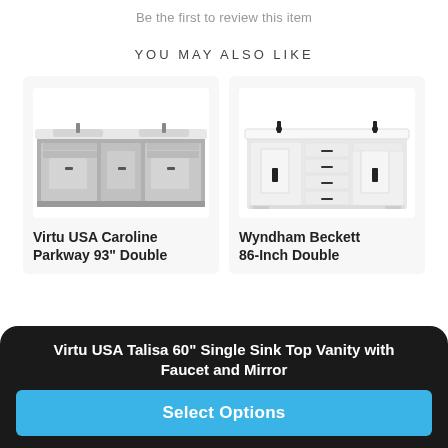Be the first to review this item
YOU MAY ALSO LIKE
[Figure (photo): Gray double bathroom vanity with marble-style top and multiple drawers and cabinet doors]
Virtu USA Caroline Parkway 93" Double
[Figure (photo): White double bathroom vanity with white countertop and dark faucets, multiple drawers]
Wyndham Beckett 86-Inch Double
Virtu USA Talisa 60" Single Sink Top Vanity with Faucet and Mirror
Select Options